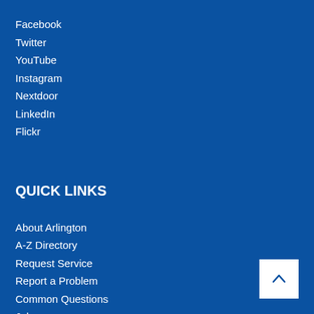Facebook
Twitter
YouTube
Instagram
Nextdoor
LinkedIn
Flickr
QUICK LINKS
About Arlington
A-Z Directory
Request Service
Report a Problem
Common Questions
Jobs